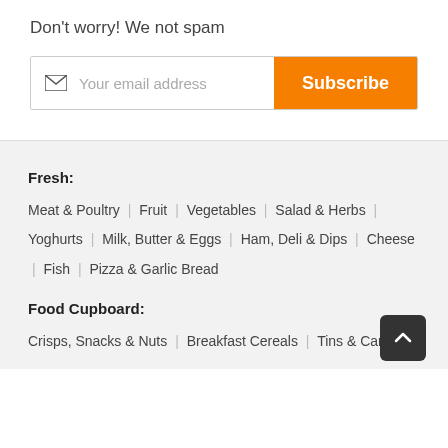Don't worry! We not spam
[Figure (other): Email subscription input bar with envelope icon placeholder 'Your email address' and orange Subscribe button]
Fresh:
Meat & Poultry | Fruit | Vegetables | Salad & Herbs | Yoghurts | Milk, Butter & Eggs | Ham, Deli & Dips | Cheese | Fish | Pizza & Garlic Bread
Food Cupboard:
Crisps, Snacks & Nuts | Breakfast Cereals | Tins & Cans